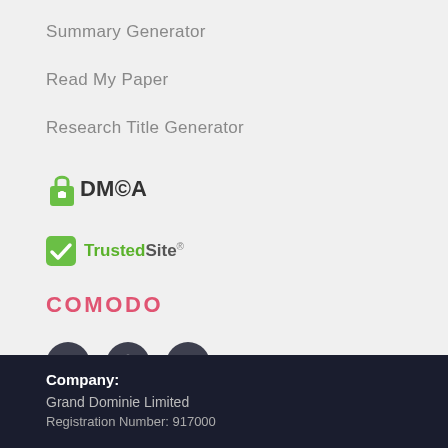Summary Generator
Read My Paper
Research Title Generator
[Figure (logo): DMCA protection badge with padlock icon and DMCA text]
[Figure (logo): TrustedSite badge with green checkmark]
[Figure (logo): Comodo logo in pink/red text]
[Figure (infographic): Social media icons: Twitter, Pinterest, YouTube in dark circular buttons]
Company:
Grand Dominie Limited
Registration Number: 917000